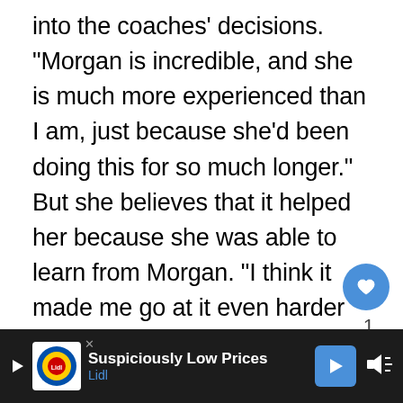into the coaches' decisions. "Morgan is incredible, and she is much more experienced than I am, just because she'd been doing this for so much longer." But she believes that it helped her because she was able to learn from Morgan. "I think it made me go at it even harder just because it was a challenge."
Neither one was surprised when they ended up being partners for the Battles. As Emily said later on, "I don't think it was a huge s... be paired with Morgan just because we both si...
[Figure (screenshot): UI overlay elements: a blue heart/like button, share button, like count of 1, and a BuddyTV 'What's Next' badge]
[Figure (screenshot): Lidl advertisement banner at the bottom: 'Suspiciously Low Prices' with Lidl logo, blue arrow, and mute icon on dark background]